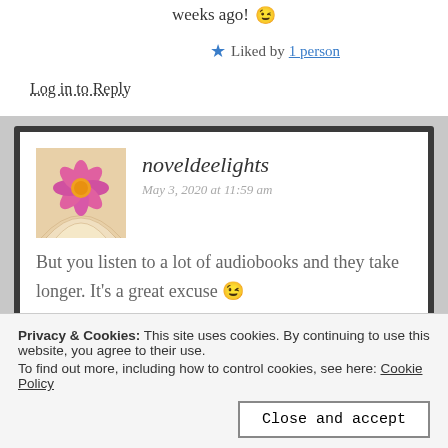weeks ago! 😉
★ Liked by 1 person
Log in to Reply
noveldeelights
May 3, 2020 at 11:59 am
But you listen to a lot of audiobooks and they take longer. It's a great excuse 😉
Yes, Once Upon A River was
Privacy & Cookies: This site uses cookies. By continuing to use this website, you agree to their use.
To find out more, including how to control cookies, see here: Cookie Policy
Close and accept